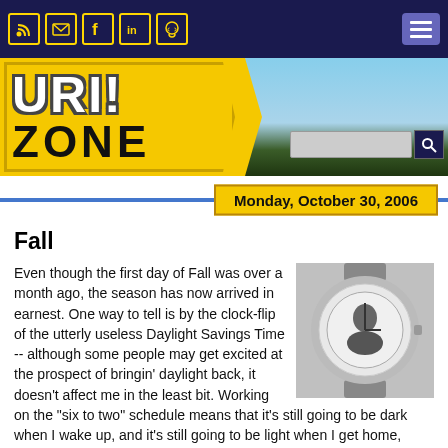URI! Zone - navigation bar with icons and hamburger menu
[Figure (illustration): URI! Zone logo banner with yellow road sign style text 'URI!' and 'ZONE' against a sky background with trees, plus a search bar]
Monday, October 30, 2006
Fall
[Figure (photo): A wristwatch with a diamond/crystal bezel and a face showing a person's image]
Even though the first day of Fall was over a month ago, the season has now arrived in earnest. One way to tell is by the clock-flip of the utterly useless Daylight Savings Time -- although some people may get excited at the prospect of bringin' daylight back, it doesn't affect me in the least bit. Working on the "six to two" schedule means that it's still going to be dark when I wake up, and it's still going to be light when I get home,